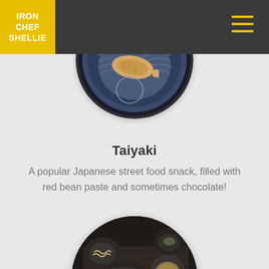Iron Chef Shellie
[Figure (photo): Taiyaki fish-shaped Japanese pastries on a decorative blue ceramic plate, overhead view.]
Taiyaki
A popular Japanese street food snack, filled with red bean paste and sometimes chocolate!
[Figure (photo): Japanese noodle dish with grilled fish/tofu on dark plates, with chopsticks and a cup of tea, table setting overhead view.]